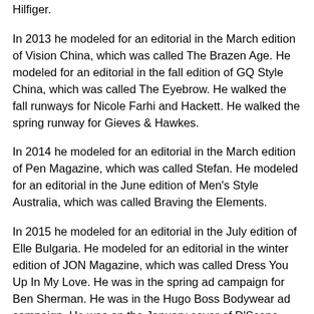Hilfiger.
In 2013 he modeled for an editorial in the March edition of Vision China, which was called The Brazen Age. He modeled for an editorial in the fall edition of GQ Style China, which was called The Eyebrow. He walked the fall runways for Nicole Farhi and Hackett. He walked the spring runway for Gieves & Hawkes.
In 2014 he modeled for an editorial in the March edition of Pen Magazine, which was called Stefan. He modeled for an editorial in the June edition of Men's Style Australia, which was called Braving the Elements.
In 2015 he modeled for an editorial in the July edition of Elle Bulgaria. He modeled for an editorial in the winter edition of JON Magazine, which was called Dress You Up In My Love. He was in the spring ad campaign for Ben Sherman. He was in the Hugo Boss Bodywear ad campaign. He was on the January cover of D'Scene